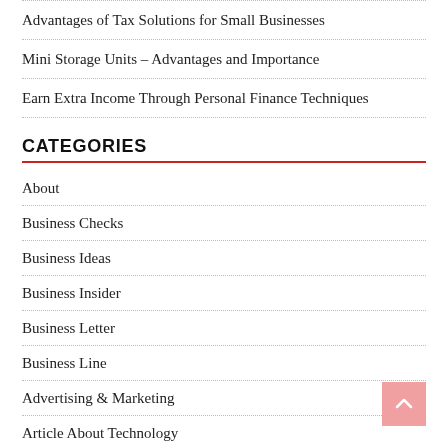Advantages of Tax Solutions for Small Businesses
Mini Storage Units – Advantages and Importance
Earn Extra Income Through Personal Finance Techniques
CATEGORIES
About
Business Checks
Business Ideas
Business Insider
Business Letter
Business Line
Advertising & Marketing
Article About Technology
Articles On Technology